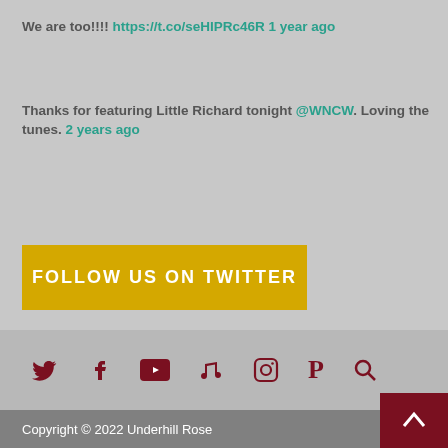We are too!!!! https://t.co/seHIPRc46R 1 year ago
Thanks for featuring Little Richard tonight @WNCW. Loving the tunes. 2 years ago
FOLLOW US ON TWITTER
[Figure (infographic): Social media icons row: Twitter bird, Facebook f, YouTube play button, music note, Instagram camera, P letter (Pandora), magnifying glass search icon — all in dark red/maroon color]
Copyright © 2022 Underhill Rose